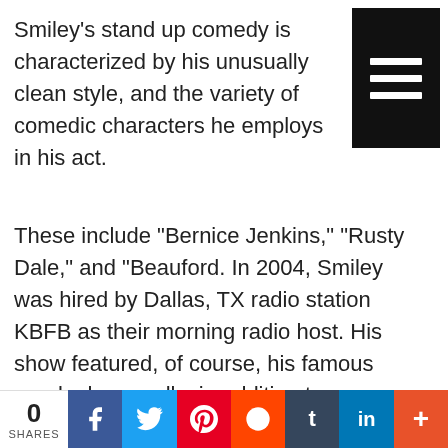Smiley’s stand up comedy is characterized by his unusually clean style, and the variety of comedic characters he employs in his act.
These include “Bernice Jenkins,” “Rusty Dale,” and “Beauford. In 2004, Smiley was hired by Dallas, TX radio station KBFB as their morning radio host. His show featured, of course, his famous prank phone calls, in addition to news, weather, and hip-hop related programming. Rickey Smiley has also made appearances in various comedy films, including Friday After Next from starring actor/rapper Ice Cube, and the similarly titled but unrelated First
[Figure (other): Hamburger menu icon — three white horizontal lines on black background]
0 SHARES | Facebook | Twitter | Pinterest | Reddit | Tumblr | LinkedIn | +